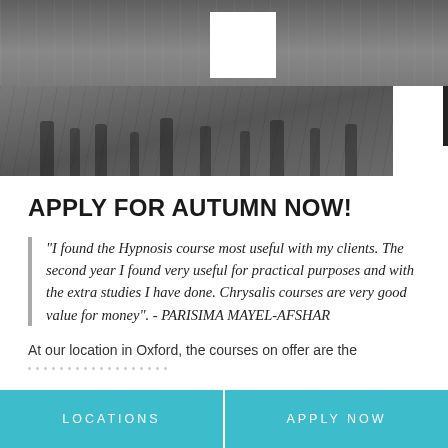[Figure (photo): Street scene banner photo showing Oxford street with people and buildings, partially overlaid with a white square logo placeholder]
APPLY FOR AUTUMN NOW!
"I found the Hypnosis course most useful with my clients. The second year I found very useful for practical purposes and with the extra studies I have done. Chrysalis courses are very good value for money". - PARISIMA MAYEL-AFSHAR
At our location in Oxford, the courses on offer are the
LOCATIONS
APPLY NOW